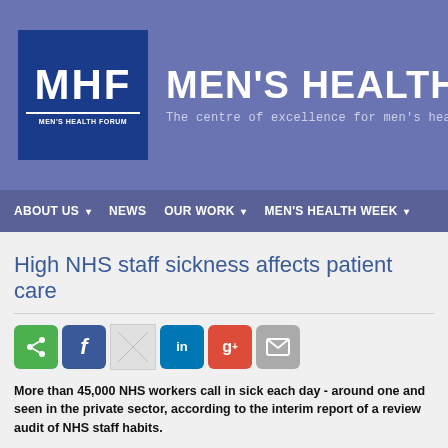[Figure (logo): Men's Health Forum logo with MHF text in dark blue box alongside organization name header banner]
MEN'S HEALTH F | The centre of excellence for men's health p
ABOUT US | NEWS | OUR WORK | MEN'S HEALTH WEEK
High NHS staff sickness affects patient care
[Figure (other): Social share buttons: share (green), Facebook (blue), image placeholder, LinkedIn (blue), Google+ (red), email (grey)]
More than 45,000 NHS workers call in sick each day - around one and seen in the private sector, according to the interim report of a review audit of NHS staff habits.
The quality of patient care is also being affected by obesity, smoking and p according to the study. Researchers found hospitals with worse staff health higher rates of superbug infection, unnecessary use of agency workers and